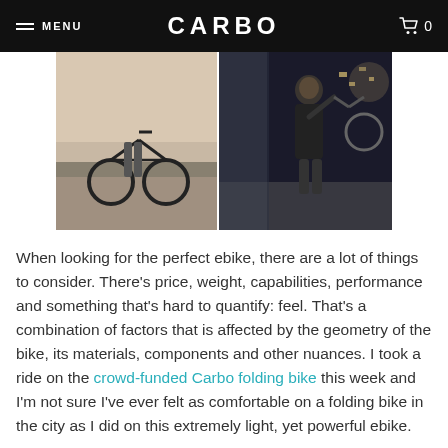MENU  CARBO  0
[Figure (photo): Two photos side by side: left photo shows a folding ebike on a city sidewalk, right photo shows a man holding a folding bike outdoors at night in an urban setting.]
When looking for the perfect ebike, there are a lot of things to consider. There's price, weight, capabilities, performance and something that's hard to quantify: feel. That's a combination of factors that is affected by the geometry of the bike, its materials, components and other nuances. I took a ride on the crowd-funded Carbo folding bike this week and I'm not sure I've ever felt as comfortable on a folding bike in the city as I did on this extremely light, yet powerful ebike.